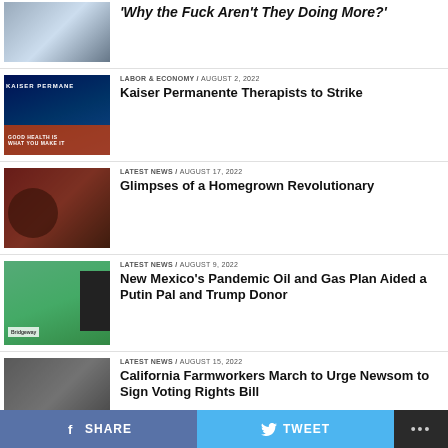[Figure (photo): News article thumbnail - people at a meeting/protest]
'Why the Fuck Aren't They Doing More?'
[Figure (photo): Kaiser Permanente sign thumbnail]
LABOR & ECONOMY / August 2, 2022
Kaiser Permanente Therapists to Strike
[Figure (photo): Silhouette/mural - homegrown revolutionary]
LATEST NEWS / August 17, 2022
Glimpses of a Homegrown Revolutionary
[Figure (photo): New Mexico oil pump jack and sign]
LATEST NEWS / August 9, 2022
New Mexico's Pandemic Oil and Gas Plan Aided a Putin Pal and Trump Donor
[Figure (photo): Black and white farmworker photo]
LATEST NEWS / August 15, 2022
California Farmworkers March to Urge Newsom to Sign Voting Rights Bill
SHARE   TWEET   ...